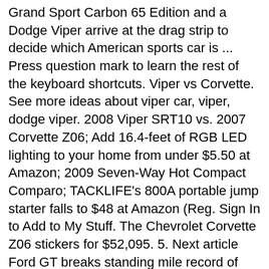Grand Sport Carbon 65 Edition and a Dodge Viper arrive at the drag strip to decide which American sports car is ... Press question mark to learn the rest of the keyboard shortcuts. Viper vs Corvette. See more ideas about viper car, viper, dodge viper. 2008 Viper SRT10 vs. 2007 Corvette Z06; Add 16.4-feet of RGB LED lighting to your home from under $5.50 at Amazon; 2009 Seven-Way Hot Compact Comparo; TACKLIFE's 800A portable jump starter falls to $48 at Amazon (Reg. Sign In to Add to My Stuff. The Chevrolet Corvette Z06 stickers for $52,095. 5. Next article Ford GT breaks standing mile record of 300mph! Chevy Corvette Z06 and Dodge Viper TA line up on the drag strip to see which can clock the better 1/4-mile time. We serve as Reddit's central hub for vehicle-related discussion including industry news, reviews, projects, videos, DIY guides, advice, stories, and more. 0. Add to My Stuff. Yesterday at 3:54 PM #183 I look at small ships all the time... as they bounce off the nose of my corvette or anaconda lol. Not bad! Chevrolet Corvette ZR1 Vs. Suggested Top Competitor . Although, I can't say from experience because I modded both my cars from day 1. The Gen 3 Cadillac